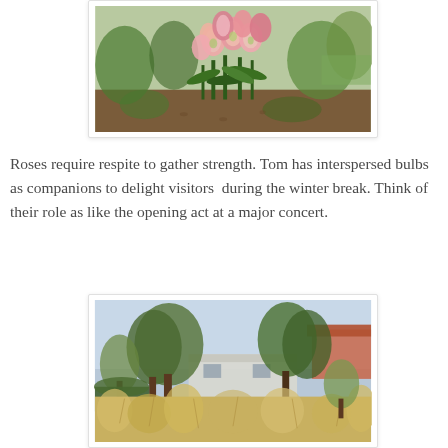[Figure (photo): Photo of pink flowering bulb plants (amaryllis/hippeastrum) in a garden bed with green foliage and mulched soil, surrounded by other garden plants]
Roses require respite to gather strength. Tom has interspersed bulbs as companions to delight visitors  during the winter break. Think of their role as like the opening act at a major concert.
[Figure (photo): Photo of a garden landscape with tall ornamental grasses in the foreground, deciduous and evergreen trees in the middle ground, and a white building structure visible behind the trees, with a red-tiled roof structure to the right]